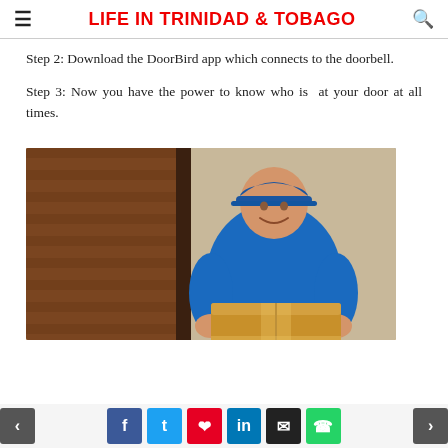LIFE IN TRINIDAD & TOBAGO
Step 2: Download the DoorBird app which connects to the doorbell.
Step 3: Now you have the power to know who is at your door at all times.
[Figure (photo): A smiling delivery man in a blue uniform and cap holding a cardboard box at a wooden door.]